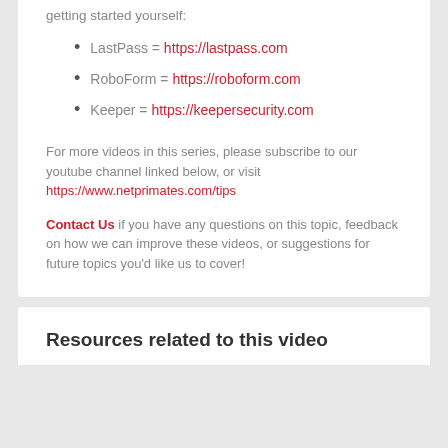getting started yourself:
LastPass = https://lastpass.com
RoboForm = https://roboform.com
Keeper = https://keepersecurity.com
For more videos in this series, please subscribe to our youtube channel linked below, or visit https://www.netprimates.com/tips
Contact Us if you have any questions on this topic, feedback on how we can improve these videos, or suggestions for future topics you'd like us to cover!
Resources related to this video